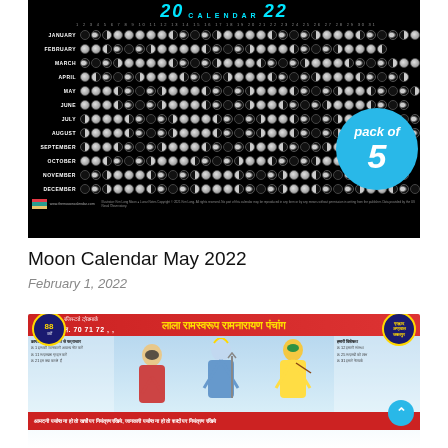[Figure (photo): Moon Calendar 2022 poster showing lunar phases for each month January–December with a 'pack of 5' badge overlay on a black background]
Moon Calendar May 2022
February 1, 2022
[Figure (photo): Lala Ramswaroop Ramnarayan Panchang calendar cover with Hindi text, religious deity figures, and decorative red and blue design]